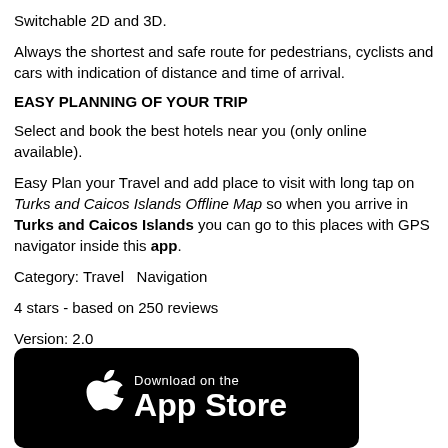Switchable 2D and 3D.
Always the shortest and safe route for pedestrians, cyclists and cars with indication of distance and time of arrival.
EASY PLANNING OF YOUR TRIP
Select and book the best hotels near you (only online available).
Easy Plan your Travel and add place to visit with long tap on Turks and Caicos Islands Offline Map so when you arrive in Turks and Caicos Islands you can go to this places with GPS navigator inside this app.
Category: Travel  Navigation
4 stars - based on 250 reviews
Version: 2.0
Operating System: iOS
$ Download for Free
[Figure (illustration): Download on the App Store badge — black rounded rectangle with Apple logo and text 'Download on the App Store']